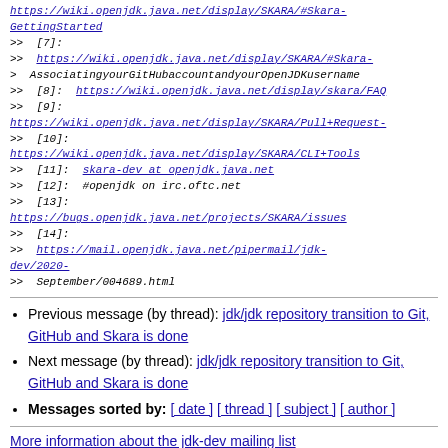[?]:
https://wiki.openjdk.java.net/display/SKARA/#Skara-GettingStarted
>> [7]:
>> https://wiki.openjdk.java.net/display/SKARA/#Skara-
>> AssociatingyourGitHubaccountandyourOpenJDKusername
>> [8]: https://wiki.openjdk.java.net/display/skara/FAQ
>> [9]:
https://wiki.openjdk.java.net/display/SKARA/Pull+Request-
>> [10]:
https://wiki.openjdk.java.net/display/SKARA/CLI+Tools
>> [11]: skara-dev at openjdk.java.net
>> [12]: #openjdk on irc.oftc.net
>> [13]:
https://bugs.openjdk.java.net/projects/SKARA/issues
>> [14]:
>> https://mail.openjdk.java.net/pipermail/jdk-dev/2020-
>> September/004689.html
Previous message (by thread): jdk/jdk repository transition to Git, GitHub and Skara is done
Next message (by thread): jdk/jdk repository transition to Git, GitHub and Skara is done
Messages sorted by: [ date ] [ thread ] [ subject ] [ author ]
More information about the jdk-dev mailing list